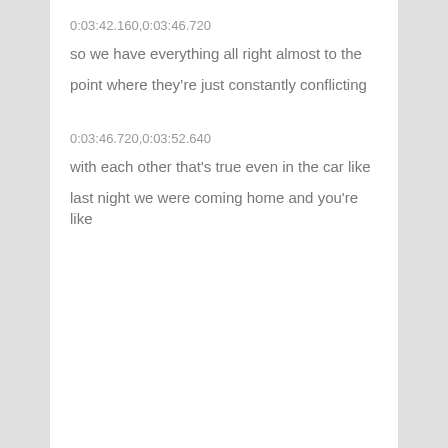0:03:42.160,0:03:46.720
so we have everything all right almost to the
point where they’re just constantly conflicting
0:03:46.720,0:03:52.640
with each other that's true even in the car like
last night we were coming home and you're like